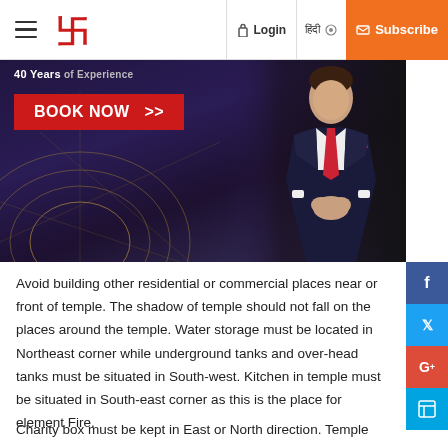≡  [Logo]  Login  हिंदी  Subscribe
[Figure (photo): Advertisement banner showing '40 Years of Experience' and a red 'BOOK NOW >>' button with a man in a dark suit on the right side against a dark patterned background.]
Avoid building other residential or commercial places near or front of temple. The shadow of temple should not fall on the places around the temple. Water storage must be located in Northeast corner while underground tanks and over-head tanks must be situated in South-west. Kitchen in temple must be situated in South-east corner as this is the place for element Fire.
Charity box must be kept in East or North direction. Temple is the place where the element of all the...